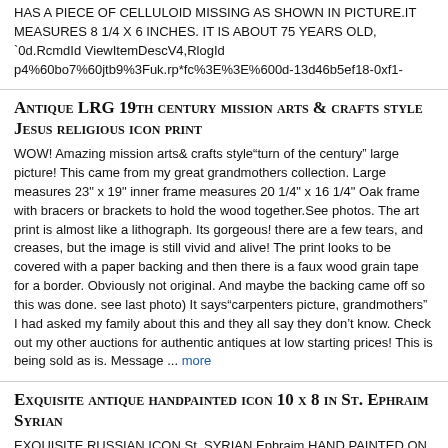HAS A PIECE OF CELLULOID MISSING AS SHOWN IN PICTURE.IT MEASURES 8 1/4 X 6 INCHES. IT IS ABOUT 75 YEARS OLD, `0d.RcmdId ViewItemDescV4,RlogId p4%60bo7%60jtb9%3Fuk.rp*fc%3E%3E%600d-13d46b5ef18-0xf1-
Antique LRG 19th century mission arts & crafts style Jesus religious icon print
WOW! Amazing mission arts& crafts style"turn of the century" large picture! This came from my great grandmothers collection. Large measures 23" x 19" inner frame measures 20 1/4" x 16 1/4" Oak frame with bracers or brackets to hold the wood together.See photos. The art print is almost like a lithograph. Its gorgeous! there are a few tears, and creases, but the image is still vivid and alive! The print looks to be covered with a paper backing and then there is a faux wood grain tape for a border. Obviously not original. And maybe the backing came off so this was done. see last photo) It says"carpenters picture, grandmothers" I had asked my family about this and they all say they don't know. Check out my other auctions for authentic antiques at low starting prices! This is being sold as is. Message ... more
EXQUISITE ANTIQUE HANDPAINTED ICON 10 x 8 IN St. Ephraim Syrian
EXQUISITE RUSSIAN ICON St. SYRIAN Ephraim HAND PAINTED ON WOOD. MUSEUM QUALITY ICON HAND PAINTED ON WOOD. EXQUISITE ICON WITH HIGHLY AND DETAILED HAND PAINTED IN GREAT SHAPE. THIS GREAT ANTIQUE ICON FROM XX Th. HAVE A VERY NICE PATINA. THIS EXQUISITE ICON IT IS HUGE 10 IN x 8 IN